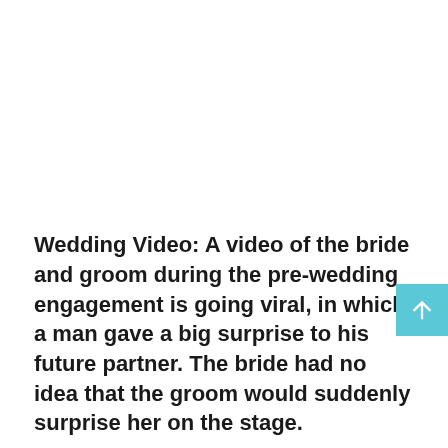Wedding Video: A video of the bride and groom during the pre-wedding engagement is going viral, in which a man gave a big surprise to his future partner. The bride had no idea that the groom would suddenly surprise her on the stage.